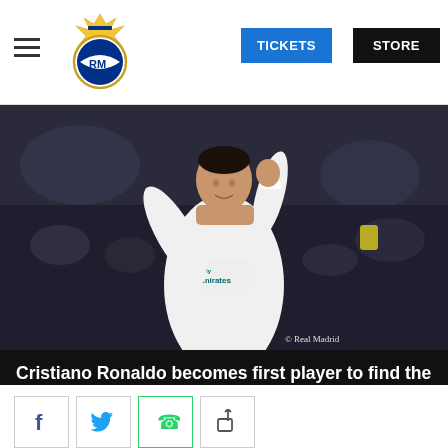Real Madrid website header with hamburger menu, logo, TICKETS and STORE buttons
[Figure (photo): Cristiano Ronaldo in white Real Madrid Emirates jersey celebrating with fist raised. © Real Madrid watermark bottom right.]
Cristiano Ronaldo becomes first player to find the net in every group stage match
VIDEO
[Figure (infographic): Social share buttons: Facebook, Twitter, WhatsApp, and generic share icon]